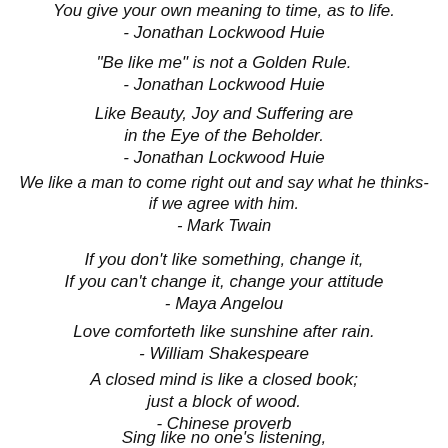You give your own meaning to time, as to life. - Jonathan Lockwood Huie
"Be like me" is not a Golden Rule. - Jonathan Lockwood Huie
Like Beauty, Joy and Suffering are in the Eye of the Beholder. - Jonathan Lockwood Huie
We like a man to come right out and say what he thinks- if we agree with him. - Mark Twain
If you don’t like something, change it, If you can't change it, change your attitude - Maya Angelou
Love comforteth like sunshine after rain. - William Shakespeare
A closed mind is like a closed book; just a block of wood. - Chinese proverb
Sing like no one's listening, love like you've never been hurt,